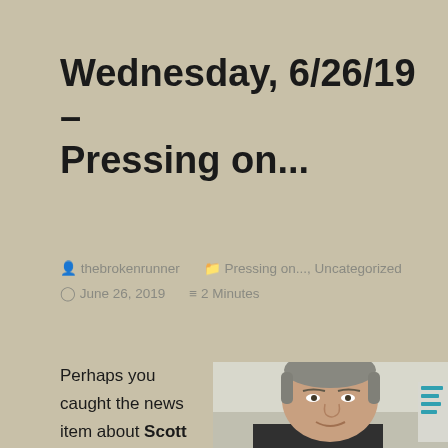Wednesday, 6/26/19 – Pressing on...
thebrokenrunner   Pressing on..., Uncategorized   June 26, 2019   2 Minutes
Perhaps you caught the news item about Scott Nash, founder of MOM's Organic Market. Scott ate 'expired' food for
[Figure (photo): Headshot of Scott Nash, a middle-aged man with short gray hair, smiling slightly, photographed against a light background with partial text visible.]